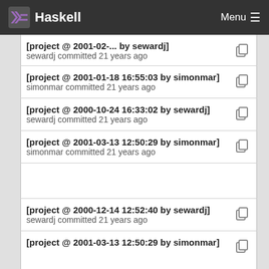Haskell | Menu
[project @ 2001-01-18 16:55:03 by simonmar]
simonmar committed 21 years ago
[project @ 2000-10-24 16:33:02 by sewardj]
sewardj committed 21 years ago
[project @ 2001-03-13 12:50:29 by simonmar]
simonmar committed 21 years ago
[project @ 2000-12-14 12:52:40 by sewardj]
sewardj committed 21 years ago
[project @ 2001-03-13 12:50:29 by simonmar]